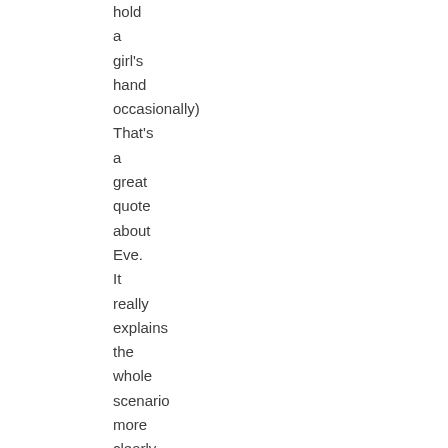hold a girl's hand occasionally) That's a great quote about Eve. It really explains the whole scenario more clearly in my mind, and definitely makes the point